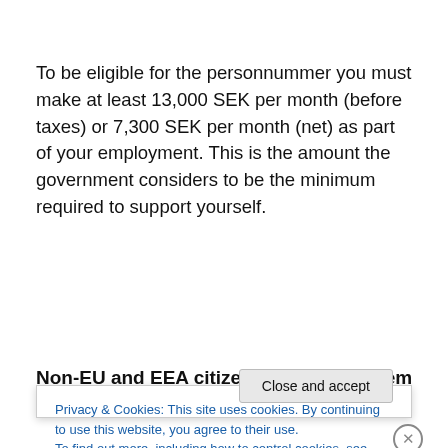To be eligible for the personnummer you must make at least 13,000 SEK per month (before taxes) or 7,300 SEK per month (net) as part of your employment. This is the amount the government considers to be the minimum required to support yourself.
back to top
Non-EU and EEA citizens who are self-employed or
Privacy & Cookies: This site uses cookies. By continuing to use this website, you agree to their use.
To find out more, including how to control cookies, see here: Cookie Policy